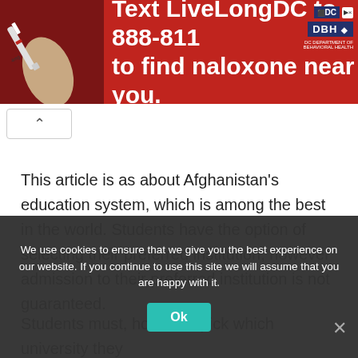[Figure (infographic): Red advertisement banner: Text LiveLongDC to 888-811 to find naloxone near you, with DC and DBH logos on the right and a hand holding a syringe image on the left.]
This article is as about Afghanistan's education system, which is among the best in the world. Students have the option of selecting their preferred institution, however admission to their preferred institution is not guaranteed.
Students must, however, pick which university they
We use cookies to ensure that we give you the best experience on our website. If you continue to use this site we will assume that you are happy with it.